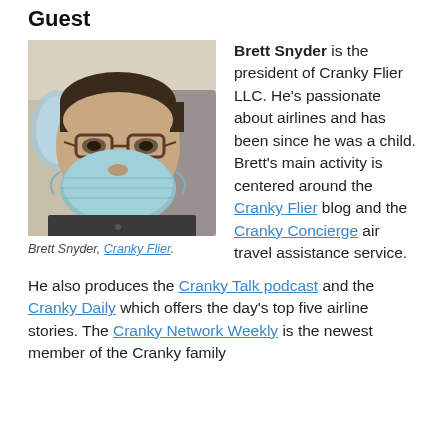Guest
[Figure (photo): Photo of Brett Snyder wearing a face mask on an airplane, selfie-style. He has glasses and is wearing a dark shirt.]
Brett Snyder, Cranky Flier.
Brett Snyder is the president of Cranky Flier LLC. He’s passionate about airlines and has been since he was a child. Brett’s main activity is centered around the Cranky Flier blog and the Cranky Concierge air travel assistance service.
He also produces the Cranky Talk podcast and the Cranky Daily which offers the day’s top five airline stories. The Cranky Network Weekly is the newest member of the Cranky family